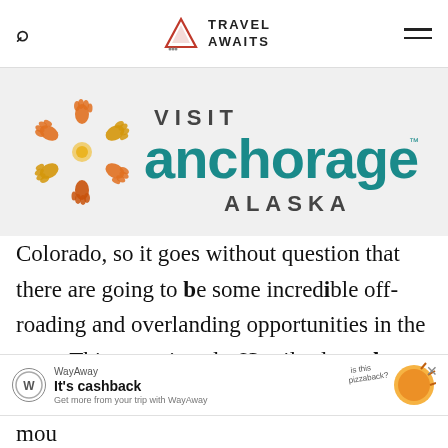Travel Awaits
[Figure (logo): Visit Anchorage Alaska logo with colorful handprint snowflake design and teal anchorage text]
Colorado, so it goes without question that there are going to be some incredible off-roading and overlanding opportunities in the state. This route is only 63 miles long, but after driving through the gorgeous mou...
[Figure (infographic): WayAway advertisement banner - It's cashback. Get more from your trip with WayAway. Is this pizzaback? illustration.]